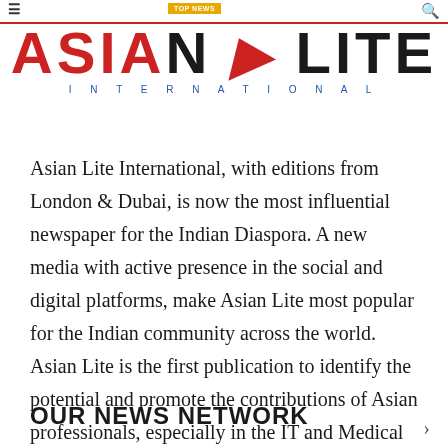Asian Lite International — logo and navigation header
Asian Lite International, with editions from London & Dubai, is now the most influential newspaper for the Indian Diaspora. A new media with active presence in the social and digital platforms, make Asian Lite most popular for the Indian community across the world. Asian Lite is the first publication to identify the potential and promote the contributions of Asian professionals, especially in the IT and Medical sectors, to the global economy.
OUR NEWS NETWORK